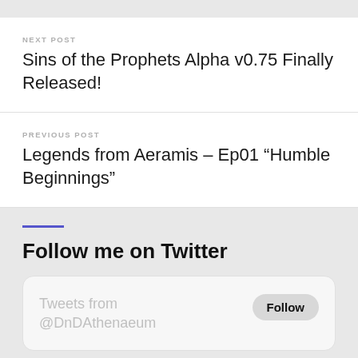NEXT POST
Sins of the Prophets Alpha v0.75 Finally Released!
PREVIOUS POST
Legends from Aeramis – Ep01 “Humble Beginnings”
Follow me on Twitter
Tweets from @DnDAthenaeum